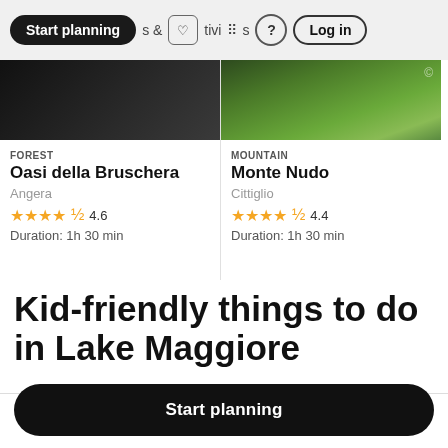Start planning | & tivities | ? | Log in
[Figure (photo): Dark forest photo thumbnail]
FOREST
Oasi della Bruschera
Angera
★★★★½ 4.6
Duration: 1h 30 min
[Figure (photo): Mountain greenery photo thumbnail with copyright symbol]
MOUNTAIN
Monte Nudo
Cittiglio
★★★★½ 4.4
Duration: 1h 30 min
Kid-friendly things to do in Lake Maggiore
Start planning